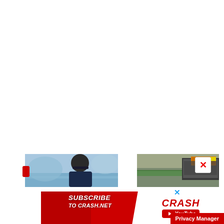[Figure (screenshot): White blank upper portion of webpage, approximately 65% of page height]
[Figure (photo): Thumbnail image showing a Mercedes F1 driver wearing a Mercedes cap with the three-pointed star logo visible, outdoor background]
[Figure (photo): Thumbnail image showing a racing circuit pit lane or grandstand area with green safety barrier visible]
[Figure (screenshot): Red advertisement banner for Crash.net YouTube channel. Left red section says SUBSCRIBE TO CRASH.NET in bold italic white text. Right white section shows CRASH in red italic text and a YouTube logo badge in red with white text.]
Privacy Manager